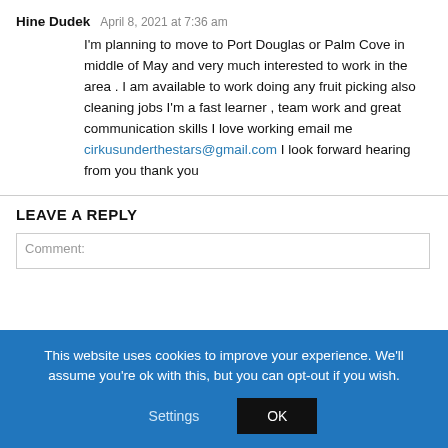Hine Dudek   April 8, 2021 at 7:36 am
I'm planning to move to Port Douglas or Palm Cove in middle of May and very much interested to work in the area . I am available to work doing any fruit picking also cleaning jobs I'm a fast learner , team work and great communication skills I love working email me cirkusunderthestars@gmail.com I look forward hearing from you thank you
LEAVE A REPLY
Comment:
This website uses cookies to improve your experience. We'll assume you're ok with this, but you can opt-out if you wish.